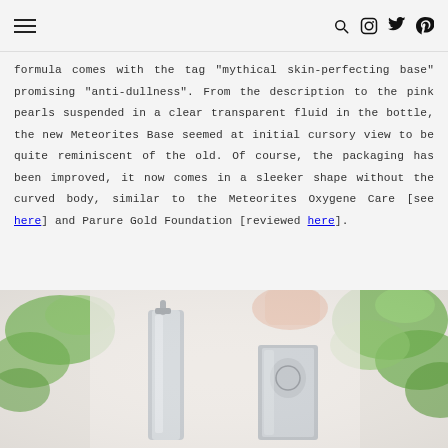Navigation header with hamburger menu and icons
formula comes with the tag "mythical skin-perfecting base" promising "anti-dullness". From the description to the pink pearls suspended in a clear transparent fluid in the bottle, the new Meteorites Base seemed at initial cursory view to be quite reminiscent of the old. Of course, the packaging has been improved, it now comes in a sleeker shape without the curved body, similar to the Meteorites Oxygene Care [see here] and Parure Gold Foundation [reviewed here].
[Figure (photo): Product photo showing two sleek silver/metallic cosmetic bottles with green foliage in the background and a hand partially visible.]